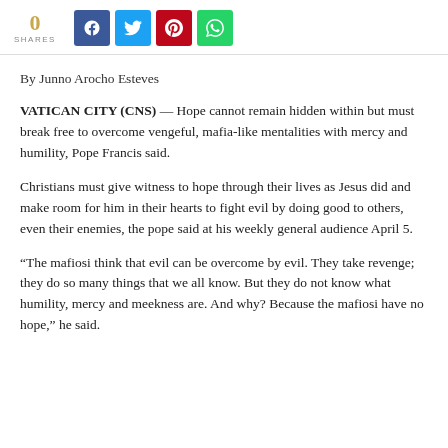[Figure (infographic): Social share bar showing 0 shares count in gold, and four social media buttons: Facebook (blue), Twitter (light blue), Pinterest (red), WhatsApp (green)]
By Junno Arocho Esteves
VATICAN CITY (CNS) — Hope cannot remain hidden within but must break free to overcome vengeful, mafia-like mentalities with mercy and humility, Pope Francis said.
Christians must give witness to hope through their lives as Jesus did and make room for him in their hearts to fight evil by doing good to others, even their enemies, the pope said at his weekly general audience April 5.
“The mafiosi think that evil can be overcome by evil. They take revenge; they do so many things that we all know. But they do not know what humility, mercy and meekness are. And why? Because the mafiosi have no hope,” he said.